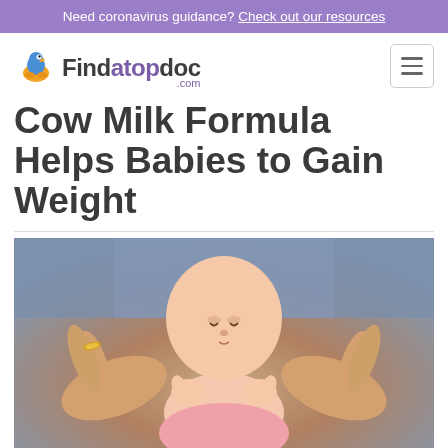Need coronavirus guidance? Check out our resources
[Figure (logo): Findatopdoc.com logo with duck icon]
Cow Milk Formula Helps Babies to Gain Weight
[Figure (photo): Close-up photo of an adult holding a newborn baby's hands, baby wearing pink clothing, adult wearing a gold ring, blue jeans visible in background]